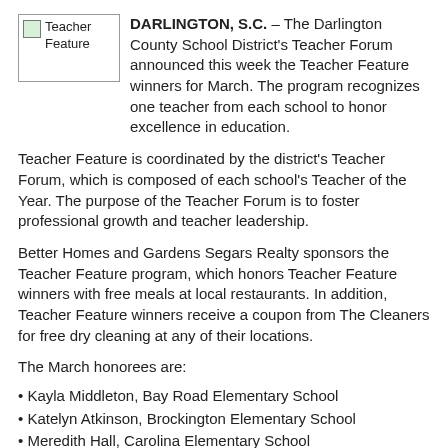[Figure (illustration): Teacher Feature image placeholder with broken image icon and caption 'Teacher Feature']
DARLINGTON, S.C. – The Darlington County School District's Teacher Forum announced this week the Teacher Feature winners for March. The program recognizes one teacher from each school to honor excellence in education.
Teacher Feature is coordinated by the district's Teacher Forum, which is composed of each school's Teacher of the Year. The purpose of the Teacher Forum is to foster professional growth and teacher leadership.
Better Homes and Gardens Segars Realty sponsors the Teacher Feature program, which honors Teacher Feature winners with free meals at local restaurants. In addition, Teacher Feature winners receive a coupon from The Cleaners for free dry cleaning at any of their locations.
The March honorees are:
Kayla Middleton, Bay Road Elementary School
Katelyn Atkinson, Brockington Elementary School
Meredith Hall, Carolina Elementary School